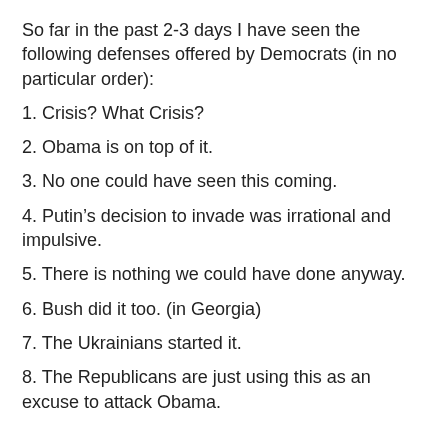So far in the past 2-3 days I have seen the following defenses offered by Democrats (in no particular order):
1. Crisis? What Crisis?
2. Obama is on top of it.
3. No one could have seen this coming.
4. Putin’s decision to invade was irrational and impulsive.
5. There is nothing we could have done anyway.
6. Bush did it too. (in Georgia)
7. The Ukrainians started it.
8. The Republicans are just using this as an excuse to attack Obama.